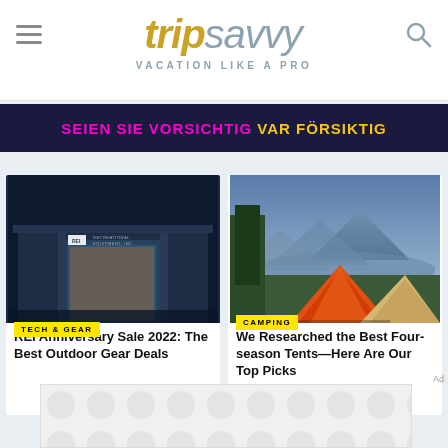tripsavvy — VACATION LIKE A PRO
[Figure (screenshot): TripSavvy website header with logo, hamburger menu, and search icon]
SEIEN SIE VORSICHTIG VAR FÖRSIKTIG
[Figure (photo): REI store exterior at night with illuminated signage reading RECREATIONAL EQUIPMENT INC]
TECH & GEAR
REI Anniversary Sale 2022: The Best Outdoor Gear Deals
[Figure (photo): Orange camping tents by a lake with mountains and trees in background]
CAMPING
We Researched the Best Four-season Tents—Here Are Our Top Picks